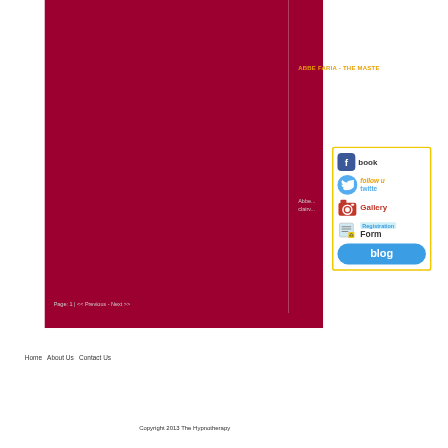ABBE FARIA - THE MASTE
Abbe... clairv...
Page: 1 | << Previous - Next >>
[Figure (screenshot): Social media sidebar with Facebook, Twitter, Gallery, Registration Form, and Blog buttons on white background with yellow border]
Home   About Us   Contact Us
Copyright 2013 The Hypnotherapy